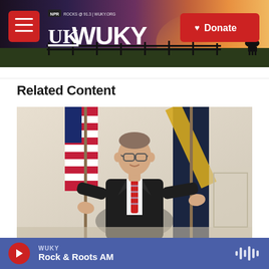[Figure (screenshot): WUKY NPR radio station website header banner with logo, menu button, and Donate button against a sunset Kentucky landscape background]
Related Content
[Figure (photo): A man in a dark suit with a red striped tie speaking at an event with American flags and a dark flag with gold details in the background]
WUKY Rock & Roots AM